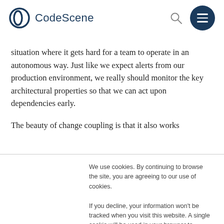CodeScene
situation where it gets hard for a team to operate in an autonomous way. Just like we expect alerts from our production environment, we really should monitor the key architectural properties so that we can act upon dependencies early.
The beauty of change coupling is that it also works
We use cookies. By continuing to browse the site, you are agreeing to our use of cookies.

If you decline, your information won't be tracked when you visit this website. A single cookie will be used in your browser to remember your preference not to be tracked.